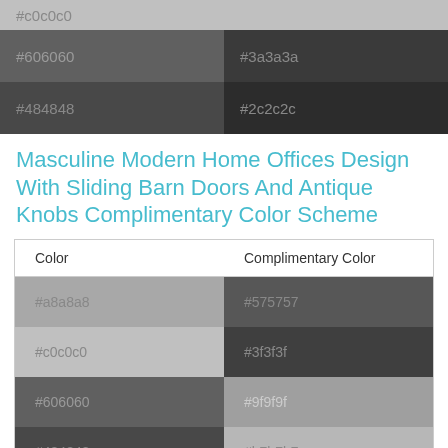[Figure (infographic): Color swatches grid showing hex color codes for top portion: #c0c0c0 (light gray), #606060 (dark gray) paired with #3a3a3a, #484848 (darker gray) paired with #2c2c2c]
Masculine Modern Home Offices Design With Sliding Barn Doors And Antique Knobs Complimentary Color Scheme
| Color | Complimentary Color |
| --- | --- |
| #a8a8a8 | #575757 |
| #c0c0c0 | #3f3f3f |
| #606060 | #9f9f9f |
| #484848 | #b7b7b7 |